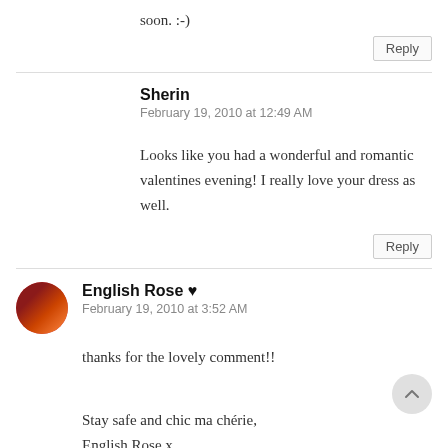soon. :-)
Reply
Sherin
February 19, 2010 at 12:49 AM
Looks like you had a wonderful and romantic valentines evening! I really love your dress as well.
Reply
English Rose ♥
February 19, 2010 at 3:52 AM
thanks for the lovely comment!!
Stay safe and chic ma chérie,
English Rose x